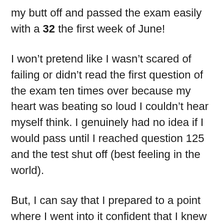my butt off and passed the exam easily with a 32 the first week of June!
I won't pretend like I wasn't scared of failing or didn't read the first question of the exam ten times over because my heart was beating so loud I couldn't hear myself think. I genuinely had no idea if I would pass until I reached question 125 and the test shut off (best feeling in the world).
But, I can say that I prepared to a point where I went into it confident that I knew the material, and that's really all you can expect! I don't